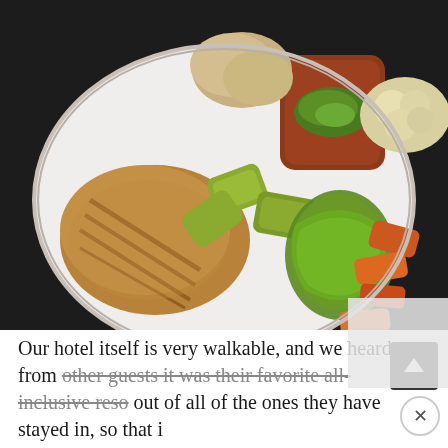[Figure (photo): A plate of grilled meat and vegetables including zucchini, green bell peppers, carrots, cauliflower, and mushrooms, with chimichurri sauce on top of a beef cut, served on a white plate against a dark background.]
Our hotel itself is very walkable, and we heard from other guests it was their favorite all-inclusive resort out of all of the ones they have stayed in, so that i...